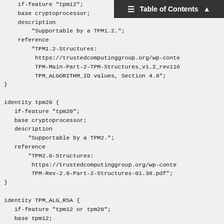[Figure (screenshot): Table of Contents navigation bar overlay in dark gray with hamburger menu icon and up arrow]
if-feature "tpm12";
    base cryptoprocessor;
    description
        "Supportable by a TPM1.2.";
    reference
        "TPM1.2-Structures:
         https://trustedcomputinggroup.org/wp-conte
         TPM-Main-Part-2-TPM-Structures_v1.2_rev116
         TPM_ALGORITHM_ID values, Section 4.8";
}

identity tpm20 {
   if-feature "tpm20";
   base cryptoprocessor;
   description
       "Supportable by a TPM2.";
   reference
       "TPM2.0-Structures:
        https://trustedcomputinggroup.org/wp-conte
        TPM-Rev-2.0-Part-2-Structures-01.38.pdf";
}

identity TPM_ALG_RSA {
   if-feature "tpm12 or tpm20";
   base tpm12;
   base tpm20;
   base asymmetric;
   base object_type;
   description
       "RSA algorithm";